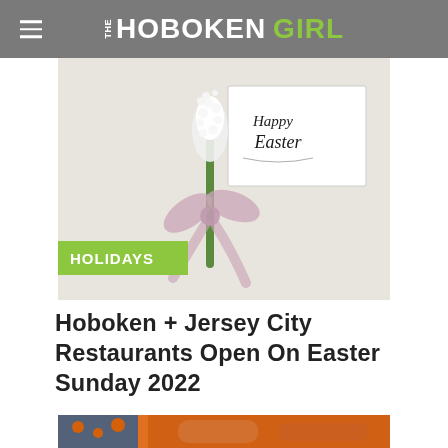THE HOBOKEN GIRL
[Figure (photo): White hyacinth flower with pink ribbon bow next to a 'Happy Easter' calligraphy card on a light background. A green 'HOLIDAYS' badge overlays the bottom-left corner.]
Hoboken + Jersey City Restaurants Open On Easter Sunday 2022
[Figure (photo): Close-up of decorative orange and blue paper lantern or candle holder with heart cutouts, with blurred background.]